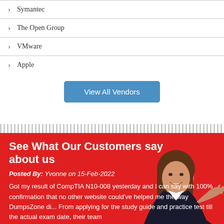Symantec
The Open Group
VMware
Apple
View All Vendors
See What Our Customers say about us
Posted By: Yvonne on 15-Feb-2022
Got my result of CompTIA N10-008 yesterday and I can say with 100% confirmation that no other website could've helped me the way DumpsZone di... From applying for the study guide and practice test till the actual exam date, their team
[Figure (photo): Photo of a smiling woman with brown hair in a dark blazer, gesturing with her hand, overlaid on the red section background]